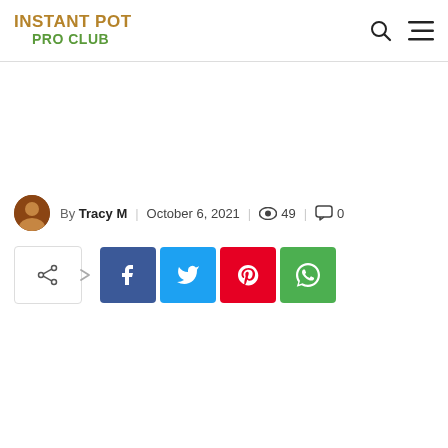INSTANT POT PRO CLUB
By Tracy M | October 6, 2021 | 49 views | 0 comments
[Figure (infographic): Social media share buttons: share toggle, Facebook, Twitter, Pinterest, WhatsApp]